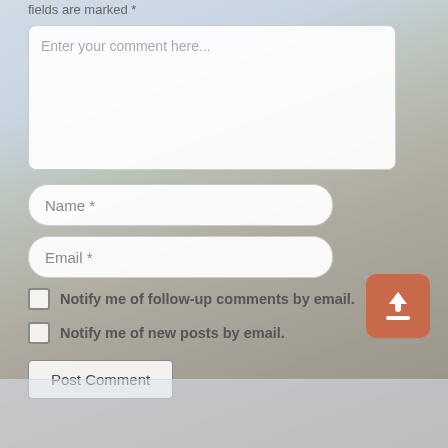fields are marked *
[Figure (screenshot): Comment text area input box with placeholder text 'Enter your comment here...']
[Figure (screenshot): Name input field with placeholder 'Name *']
[Figure (screenshot): Email input field with placeholder 'Email *']
Notify me of follow-up comments by email.
Notify me of new posts by email.
Post Comment
[Figure (illustration): Orange rounded square button with white upload/up arrow icon]